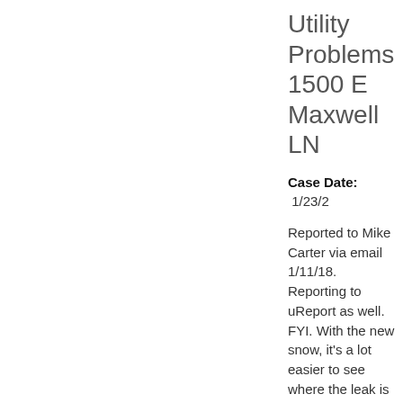Utility Problems 1500 E Maxwell LN
Case Date: 1/23/2
Reported to Mike Carter via email 1/11/18. Reporting to uReport as well. FYI. With the new snow, it's a lot easier to see where the leak is at. I hope you had